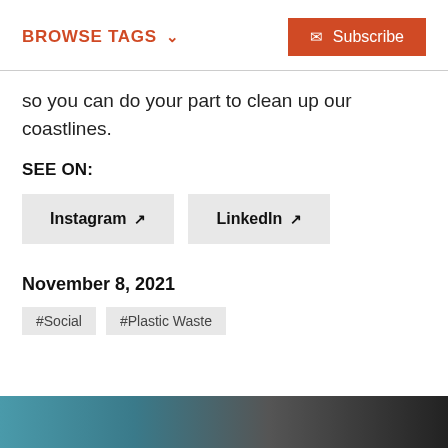BROWSE TAGS ∨   Subscribe
so you can do your part to clean up our coastlines.
SEE ON:
Instagram   LinkedIn
November 8, 2021
#Social
#Plastic Waste
[Figure (photo): Partial image of a person, teal/dark background visible at bottom of page]